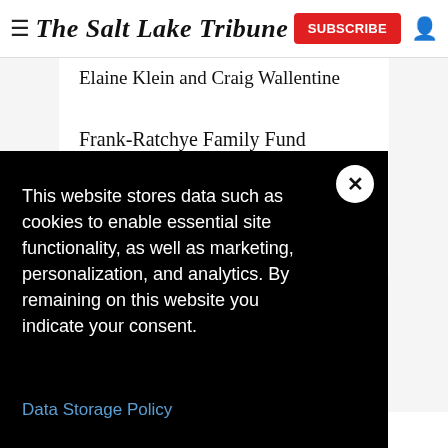The Salt Lake Tribune | SUBSCRIBE
Elaine Klein and Craig Wallentine
Frank-Ratchye Family Fund
John and Anne Milliken
Kantor Family Foundation
This website stores data such as cookies to enable essential site functionality, as well as marketing, personalization, and analytics. By remaining on this website you indicate your consent.
Data Storage Policy
Greg Skordas and Rebecca Hyde Skordas